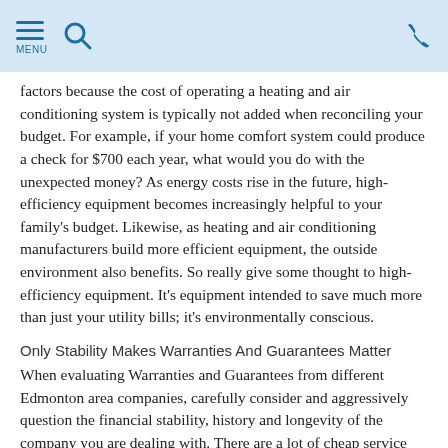MENU [navigation icons]
factors because the cost of operating a heating and air conditioning system is typically not added when reconciling your budget. For example, if your home comfort system could produce a check for $700 each year, what would you do with the unexpected money? As energy costs rise in the future, high-efficiency equipment becomes increasingly helpful to your family's budget. Likewise, as heating and air conditioning manufacturers build more efficient equipment, the outside environment also benefits. So really give some thought to high-efficiency equipment. It's equipment intended to save much more than just your utility bills; it's environmentally conscious.
Only Stability Makes Warranties And Guarantees Matter
When evaluating Warranties and Guarantees from different Edmonton area companies, carefully consider and aggressively question the financial stability, history and longevity of the company you are dealing with. There are a lot of cheap service pitches out there; its very